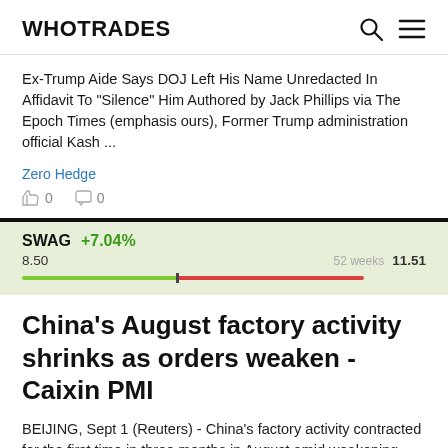WHOTRADES
Ex-Trump Aide Says DOJ Left His Name Unredacted In Affidavit To "Silence" Him Authored by Jack Phillips via The Epoch Times (emphasis ours), Former Trump administration official Kash ...
Zero Hedge
0  0
[Figure (infographic): SWAG stock ticker bar showing +7.04% gain, 52-week range from 8.50 to 11.51 with green and red range bar]
China's August factory activity shrinks as orders weaken - Caixin PMI
BEIJING, Sept 1 (Reuters) - China’s factory activity contracted for the first time in three months in August amid weakening demand, while power shortages and fresh COVID-19 flare-ups disrupted pro...
0  0